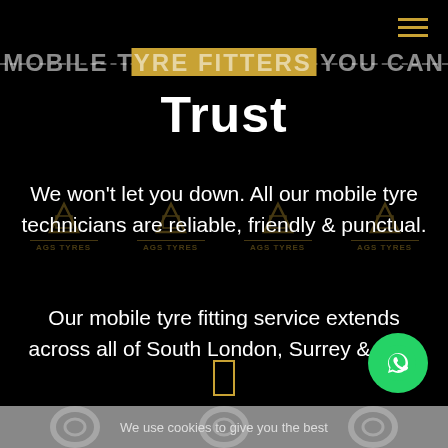MOBILE Tyre Fitters You CAN Trust
We won't let you down. All our mobile tyre technicians are reliable, friendly & punctual.
Our mobile tyre fitting service extends across all of South London, Surrey & Kent
We use cookies to give you the best